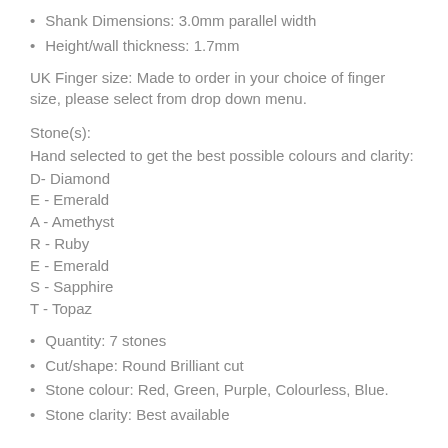Shank Dimensions: 3.0mm parallel width
Height/wall thickness: 1.7mm
UK Finger size: Made to order in your choice of finger size, please select from drop down menu.
Stone(s):
Hand selected to get the best possible colours and clarity:
D- Diamond
E - Emerald
A - Amethyst
R - Ruby
E - Emerald
S - Sapphire
T - Topaz
Quantity: 7 stones
Cut/shape: Round Brilliant cut
Stone colour: Red, Green, Purple, Colourless, Blue.
Stone clarity: Best available